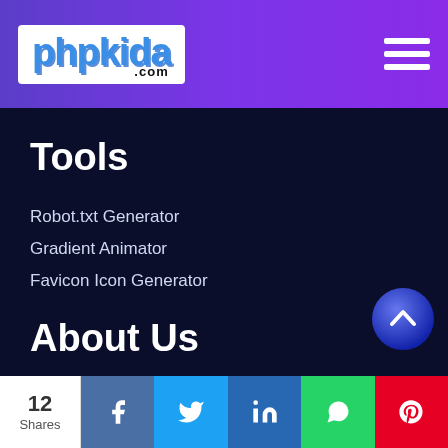phpkida.com
Tools
Robot.txt Generator
Gradient Animator
Favicon Icon Generator
About Us
About Us
12 Shares